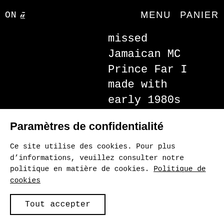ON U — MENU  PANIER
missed Jamaican MC Prince Far I made with early 1980s On-U house band Singers And Players, as well as some alternate versions and deep cuts for the true dub reggae heads.
Paramètres de confidentialité
Ce site utilise des cookies. Pour plus d'informations, veuillez consulter notre politique en matière de cookies. Politique de cookies
Tout accepter
Gérer les préférences en matière de consentement